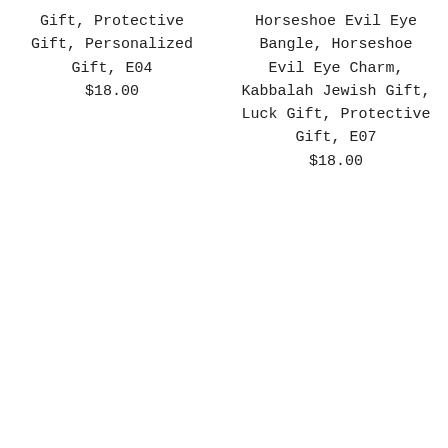Gift, Protective Gift, Personalized Gift, E04
$18.00
Horseshoe Evil Eye Bangle, Horseshoe Evil Eye Charm, Kabbalah Jewish Gift, Luck Gift, Protective Gift, E07
$18.00